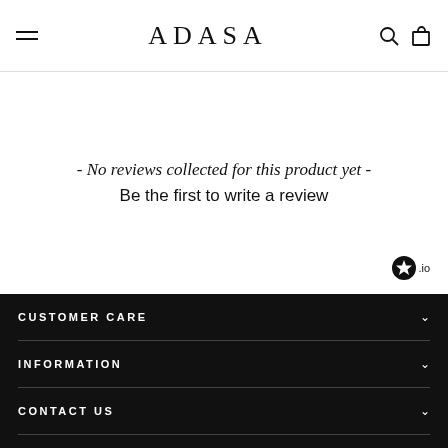ADASA
- No reviews collected for this product yet - Be the first to write a review
[Figure (logo): Stamped.io star badge logo]
CUSTOMER CARE
INFORMATION
CONTACT US